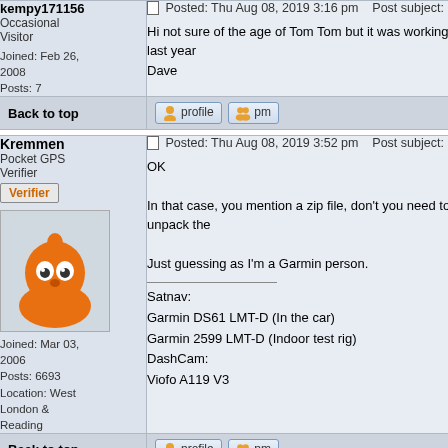kempy171156 Occasional Visitor Joined: Feb 26, 2008 Posts: 7
Posted: Thu Aug 08, 2019 3:16 pm    Post subject:
Hi not sure of the age of Tom Tom but it was working last year
Dave
Back to top  profile  pm
Kremmen Pocket GPS Verifier Verifier [avatar] Joined: Mar 03, 2006 Posts: 6693 Location: West London & Reading
Posted: Thu Aug 08, 2019 3:52 pm    Post subject:
OK

In that case, you mention a zip file, don't you need to unpack the

Just guessing as I'm a Garmin person.

_______________
Satnav:
Garmin DS61 LMT-D (In the car)
Garmin 2599 LMT-D (Indoor test rig)
DashCam:
Viofo A119 V3
Back to top  profile  pm
kempy171156 Occasional
Posted: Thu Aug 08, 2019 3:55 pm    Post subject: